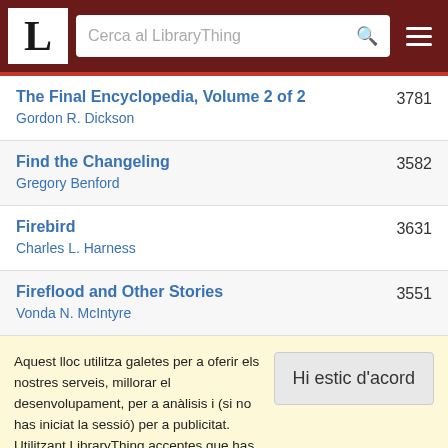LibraryThing — Cerca al LibraryThing
The Final Encyclopedia, Volume 2 of 2 — Gordon R. Dickson — 3781
Find the Changeling — Gregory Benford — 3582
Firebird — Charles L. Harness — 3631
Fireflood and Other Stories — Vonda N. McIntyre — 3551
Aquest lloc utilitza galetes per a oferir els nostres serveis, millorar el desenvolupament, per a anàlisis i (si no has iniciat la sessió) per a publicitat. Utilitzant LibraryThing acceptes que has llegit i entès els nostres Termes de servei i política de privacitat. L'ús que facis del lloc i dels seus serveis està subjecte a aquestes polítiques i termes.